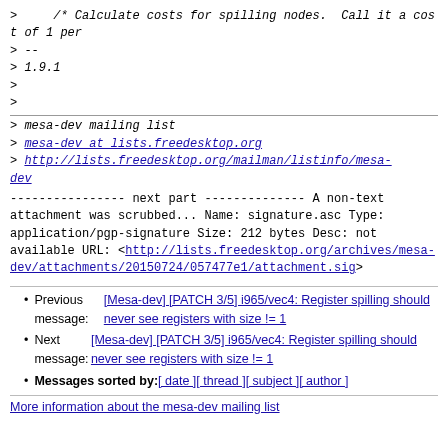>     /* Calculate costs for spilling nodes.  Call it a cost of 1 per
> --
> 1.9.1
>
>
> mesa-dev mailing list
> mesa-dev at lists.freedesktop.org
> http://lists.freedesktop.org/mailman/listinfo/mesa-dev
---------------- next part --------------
A non-text attachment was scrubbed...
Name: signature.asc
Type: application/pgp-signature
Size: 212 bytes
Desc: not available
URL: <http://lists.freedesktop.org/archives/mesa-dev/attachments/20150724/057477e1/attachment.sig>
Previous message: [Mesa-dev] [PATCH 3/5] i965/vec4: Register spilling should never see registers with size != 1
Next message: [Mesa-dev] [PATCH 3/5] i965/vec4: Register spilling should never see registers with size != 1
Messages sorted by: [ date ] [ thread ] [ subject ] [ author ]
More information about the mesa-dev mailing list